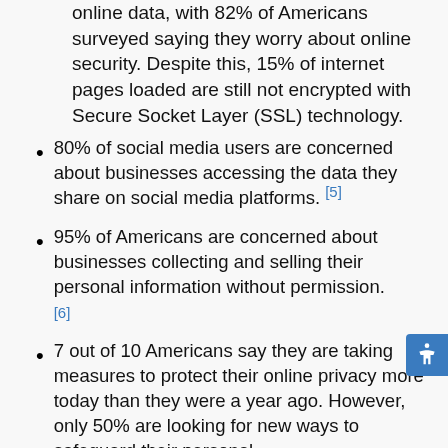online data, with 82% of Americans surveyed saying they worry about online security. Despite this, 15% of internet pages loaded are still not encrypted with Secure Socket Layer (SSL) technology.
80% of social media users are concerned about businesses accessing the data they share on social media platforms. [5]
95% of Americans are concerned about businesses collecting and selling their personal information without permission. [6]
7 out of 10 Americans say they are taking measures to protect their online privacy more today than they were a year ago. However, only 50% are looking for new ways to safeguard their personal